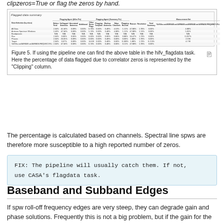clipzeros=True or flag the zeros by hand.
[Figure (table-as-image): Flagged data summary table showing flagging agent statistics with columns for Before Total, Before Unflagged, Annotated, Additional, Other Home Flags, Flagging Template, Backup, Edge Channels, Flagging Rounds, Reason, Resolution, Total Summary, and a long measurement info column. Rows include All Data, Antennas Spectrum Windows, Bandpasses, Flux, Phases, Target, and a measurement row.]
Figure 5. If using the pipeline one can find the above table in the hifv_flagdata task. Here the percentage of data flagged due to correlator zeros is represented by the "Clipping" column.
The percentage is calculated based on channels. Spectral line spws are therefore more susceptible to a high reported number of zeros.
FIX: The pipeline will usually catch them. If not, use CASA's flagdata task.
Baseband and Subband Edges
If spw roll-off frequency edges are very steep, they can degrade gain and phase solutions. Frequently this is not a big problem, but if the gain for the edge channels is close to zero, a division by the bandpass for these